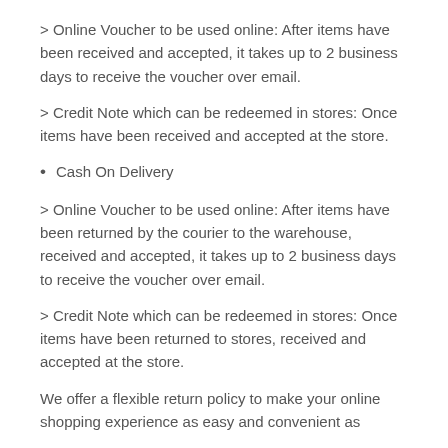> Online Voucher to be used online: After items have been received and accepted, it takes up to 2 business days to receive the voucher over email.
> Credit Note which can be redeemed in stores: Once items have been received and accepted at the store.
Cash On Delivery
> Online Voucher to be used online: After items have been returned by the courier to the warehouse, received and accepted, it takes up to 2 business days to receive the voucher over email.
> Credit Note which can be redeemed in stores: Once items have been returned to stores, received and accepted at the store.
We offer a flexible return policy to make your online shopping experience as easy and convenient as